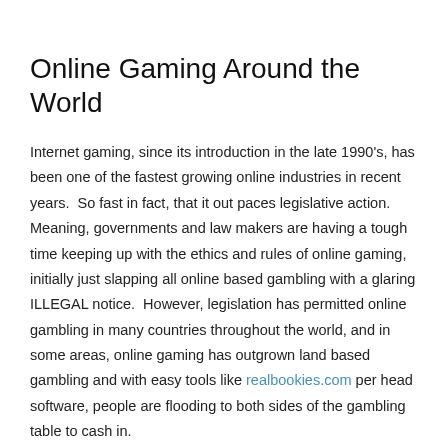Online Gaming Around the World
Internet gaming, since its introduction in the late 1990's, has been one of the fastest growing online industries in recent years.  So fast in fact, that it out paces legislative action.  Meaning, governments and law makers are having a tough time keeping up with the ethics and rules of online gaming, initially just slapping all online based gambling with a glaring ILLEGAL notice.  However, legislation has permitted online gambling in many countries throughout the world, and in some areas, online gaming has outgrown land based gambling and with easy tools like realbookies.com per head software, people are flooding to both sides of the gambling table to cash in.